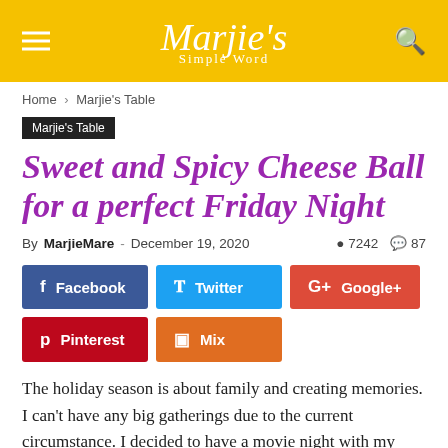Marjie's Simple Word
Home › Marjie's Table
Marjie's Table
Sweet and Spicy Cheese Ball for a perfect Friday Night
By MarjieMare - December 19, 2020   7242   87
Facebook  Twitter  Google+  Pinterest  Mix
The holiday season is about family and creating memories.  I can't have any big gatherings due to the current circumstance.   I decided to have a movie night with my loved ones while enjoying a great snack.